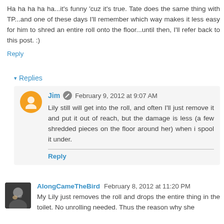Ha ha ha ha ha...it's funny 'cuz it's true. Tate does the same thing with TP...and one of these days I'll remember which way makes it less easy for him to shred an entire roll onto the floor...until then, I'll refer back to this post. :)
Reply
▾ Replies
Jim  February 9, 2012 at 9:07 AM
Lily still will get into the roll, and often I'll just remove it and put it out of reach, but the damage is less (a few shredded pieces on the floor around her) when i spool it under.
Reply
AlongCameTheBird  February 8, 2012 at 11:20 PM
My Lily just removes the roll and drops the entire thing in the toilet. No unrolling needed. Thus the reason why she